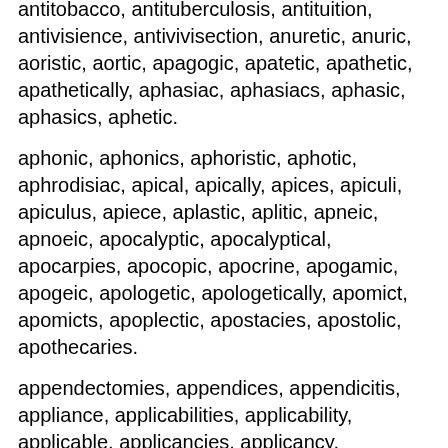antitobacco, antituberculosis, antituition, antivisience, antivivisection, anuretic, anuric, aoristic, aortic, apagogic, apatetic, apathetic, apathetically, aphasiac, aphasiacs, aphasic, aphasics, aphetic.
aphonic, aphonics, aphoristic, aphotic, aphrodisiac, apical, apically, apices, apiculi, apiculus, apiece, aplastic, aplitic, apneic, apnoeic, apocalyptic, apocalyptical, apocarpies, apocopic, apocrine, apogamic, apogeic, apologetic, apologetically, apomict, apomicts, apoplectic, apostacies, apostolic, apothecaries.
appendectomies, appendices, appendicitis, appliance, applicabilities, applicability, applicable, applicancies, applicancy, applicant, applicants, application, applications, applicator, applicators, appreciable, appreciably, appreciate, appreciated, appreciates, appreciating, appreciation,